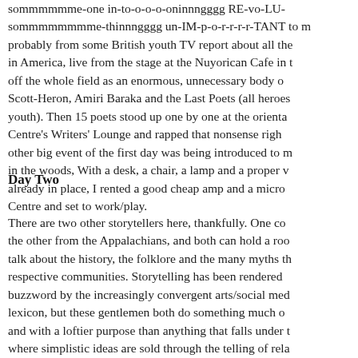sommmmmme-one in-to-o-o-o-oninnngggg RE-vo-LU- sommmmmmmme-thinnngggg un-IM-p-o-r-r-r-r-TANT to m probably from some British youth TV report about all the in America, live from the stage at the Nuyorican Cafe in t off the whole field as an enormous, unnecessary body o Scott-Heron, Amiri Baraka and the Last Poets (all heroes youth). Then 15 poets stood up one by one at the orienta Centre's Writers' Lounge and rapped that nonsense righ other big event of the first day was being introduced to m in the woods, With a desk, a chair, a lamp and a proper v already in place, I rented a good cheap amp and a micro Centre and set to work/play.
Day Two
There are two other storytellers here, thankfully. One co the other from the Appalachians, and both can hold a roo talk about the history, the folklore and the many myths th respective communities. Storytelling has been rendered buzzword by the increasingly convergent arts/social med lexicon, but these gentlemen both do something much o and with a loftier purpose than anything that falls under t where simplistic ideas are sold through the telling of rela are also both very skilled musicians with much published music and storytelling. I am feel less of a storyteller than